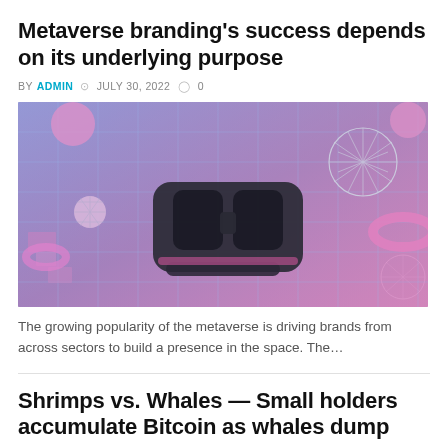Metaverse branding's success depends on its underlying purpose
BY ADMIN  JULY 30, 2022  0
[Figure (illustration): VR headset floating in a stylized metaverse environment with pink and purple geometric shapes, grid lines, spheres, and 3D objects on a blue-purple background]
The growing popularity of the metaverse is driving brands from across sectors to build a presence in the space. The…
Shrimps vs. Whales — Small holders accumulate Bitcoin as whales dump